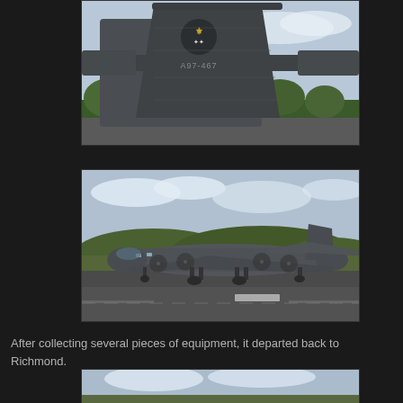[Figure (photo): Close-up photograph of the tail section of a military transport aircraft (C-130 Hercules), showing the tail fin with a unit insignia and marking 'A97-467'. Gray aircraft against a light blue sky with green trees in background.]
[Figure (photo): Photograph of a military C-130 Hercules transport aircraft taxiing on a runway. The gray aircraft is viewed from the side, showing full fuselage, propellers, and landing gear on tarmac with trees and clouds in background.]
After collecting several pieces of equipment, it departed back to Richmond.
[Figure (photo): Partial photograph of a military aircraft on a runway, partially cropped at bottom of page.]